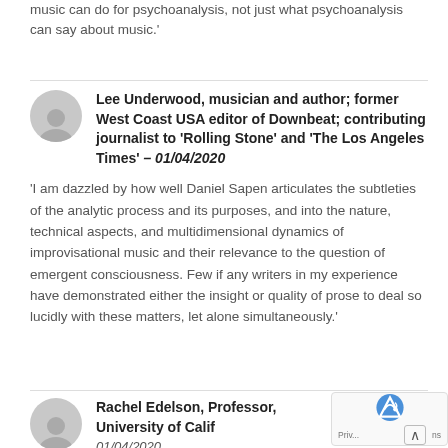music can do for psychoanalysis, not just what psychoanalysis can say about music.'
Lee Underwood, musician and author; former West Coast USA editor of Downbeat; contributing journalist to 'Rolling Stone' and 'The Los Angeles Times' – 01/04/2020
'I am dazzled by how well Daniel Sapen articulates the subtleties of the analytic process and its purposes, and into the nature, technical aspects, and multidimensional dynamics of improvisational music and their relevance to the question of emergent consciousness. Few if any writers in my experience have demonstrated either the insight or quality of prose to deal so lucidly with these matters, let alone simultaneously.'
Rachel Edelson, Professor, University of Calif 01/04/2020